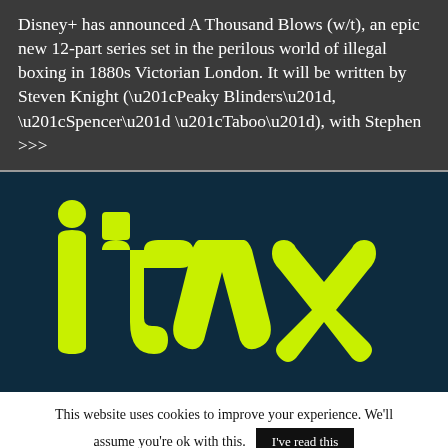Disney+ has announced A Thousand Blows (w/t), an epic new 12-part series set in the perilous world of illegal boxing in 1880s Victorian London. It will be written by Steven Knight (“Peaky Blinders”, “Spencer” “Taboo”), with Stephen >>>
[Figure (logo): ITVX logo in bright yellow-green on dark navy background]
This website uses cookies to improve your experience. We’ll assume you’re ok with this.